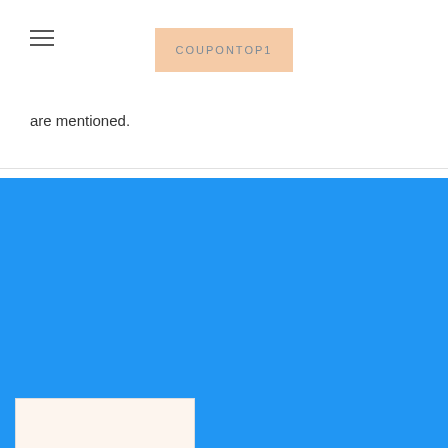[Figure (logo): COUPONTOP1 logo in header — peach/tan background with uppercase grey text]
are mentioned.
[Figure (logo): COUPONTOP1 logo card on blue background — cream and peach sections with uppercase grey text COUPON (partially visible)]
[Figure (infographic): Social media icons row: Facebook (blue), Instagram (dark teal), Twitter (light blue), YouTube (red), Pinterest (dark red), LinkedIn (teal)]